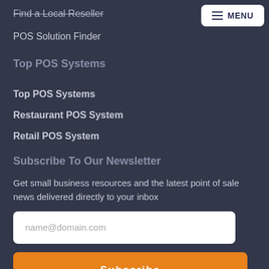Find a Local Reseller
POS Solution Finder
Top POS Systems
Top POS Systems
Restaurant POS System
Retail POS System
Subscribe To Our Newsletter
Get small business resources and the latest point of sale news delivered directly to your inbox
name@domain.com
Subscribe